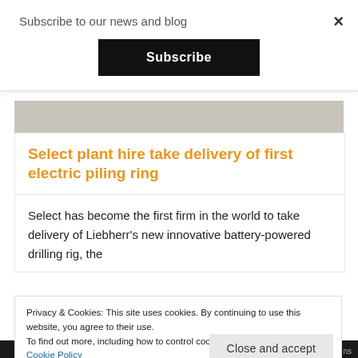Subscribe to our news and blog
×
Subscribe
[Figure (photo): Gray textured surface/stone image strip]
Select plant hire take delivery of first electric piling ring
Select has become the first firm in the world to take delivery of Liebherr's new innovative battery-powered drilling rig, the
Privacy & Cookies: This site uses cookies. By continuing to use this website, you agree to their use.
To find out more, including how to control cookies, see here:
Cookie Policy
Close and accept